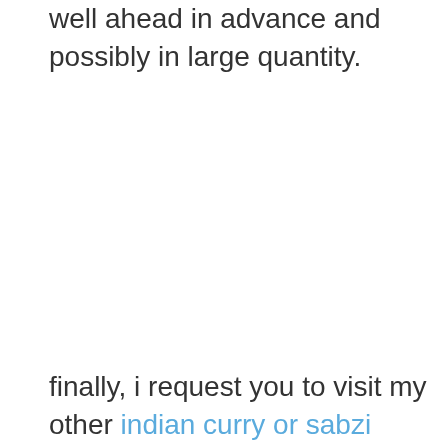well ahead in advance and possibly in large quantity.
finally, i request you to visit my other indian curry or sabzi recipes collection with this